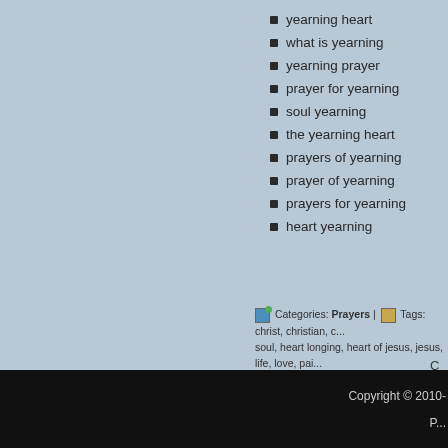yearning heart
what is yearning
yearning prayer
prayer for yearning
soul yearning
the yearning heart
prayers of yearning
prayer of yearning
prayers for yearning
heart yearning
Categories: Prayers | Tags: christ, christian, c... soul, heart longing, heart of jesus, jesus, life, love, pai...
C
« Lessons From the Life of Gide...
Copyright © 2010-
P...